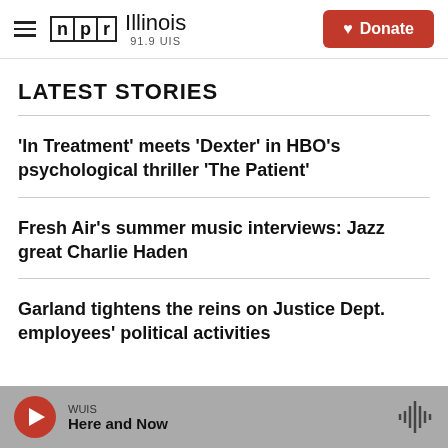NPR Illinois 91.9 UIS | Donate
LATEST STORIES
'In Treatment' meets 'Dexter' in HBO's psychological thriller 'The Patient'
Fresh Air's summer music interviews: Jazz great Charlie Haden
Garland tightens the reins on Justice Dept. employees' political activities
WUIS | Here and Now